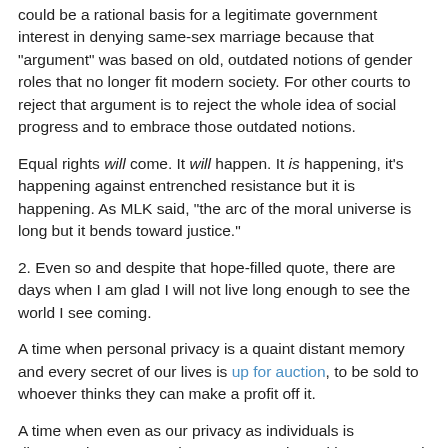could be a rational basis for a legitimate government interest in denying same-sex marriage because that "argument" was based on old, outdated notions of gender roles that no longer fit modern society. For other courts to reject that argument is to reject the whole idea of social progress and to embrace those outdated notions.
Equal rights will come. It will happen. It is happening, it's happening against entrenched resistance but it is happening. As MLK said, "the arc of the moral universe is long but it bends toward justice."
2. Even so and despite that hope-filled quote, there are days when I am glad I will not live long enough to see the world I see coming.
A time when personal privacy is a quaint distant memory and every secret of our lives is up for auction, to be sold to whoever thinks they can make a profit off it.
A time when even as our privacy as individuals is disappearing, even as the government is seeking more and